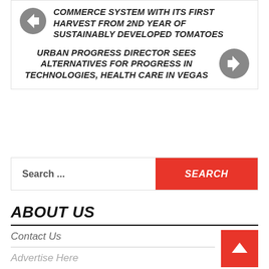COMMERCE SYSTEM WITH ITS FIRST HARVEST FROM 2ND YEAR OF SUSTAINABLY DEVELOPED TOMATOES
URBAN PROGRESS DIRECTOR SEES ALTERNATIVES FOR PROGRESS IN TECHNOLOGIES, HEALTH CARE IN VEGAS
Search ...
SEARCH
ABOUT US
Contact Us
Advertise Here